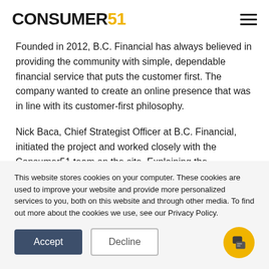CONSUMER51
Founded in 2012, B.C. Financial has always believed in providing the community with simple, dependable financial service that puts the customer first. The company wanted to create an online presence that was in line with its customer-first philosophy.
Nick Baca, Chief Strategist Officer at B.C. Financial, initiated the project and worked closely with the Consumer51 team on the site. Explaining the significance of the new website
This website stores cookies on your computer. These cookies are used to improve your website and provide more personalized services to you, both on this website and through other media. To find out more about the cookies we use, see our Privacy Policy.